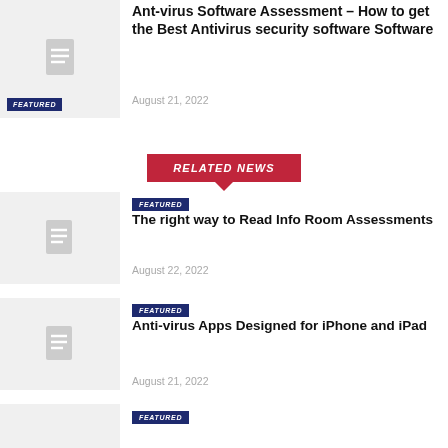[Figure (illustration): Article thumbnail placeholder with document icon, FEATURED badge]
Ant-virus Software Assessment – How to get the Best Antivirus security software Software
August 21, 2022
[Figure (other): RELATED NEWS banner button in red with downward arrow]
[Figure (illustration): Article thumbnail placeholder with document icon]
FEATURED
The right way to Read Info Room Assessments
August 22, 2022
[Figure (illustration): Article thumbnail placeholder with document icon]
FEATURED
Anti-virus Apps Designed for iPhone and iPad
August 21, 2022
FEATURED